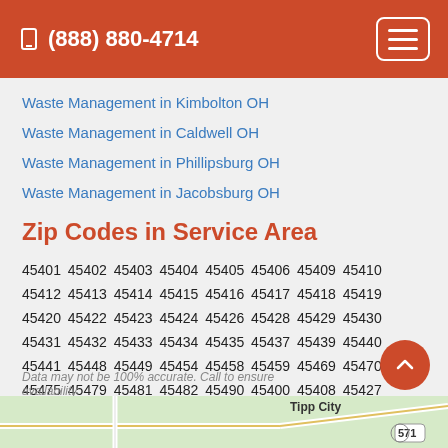(888) 880-4714
Waste Management in Kimbolton OH
Waste Management in Caldwell OH
Waste Management in Phillipsburg OH
Waste Management in Jacobsburg OH
Zip Codes in Service Area
45401 45402 45403 45404 45405 45406 45409 45410 45412 45413 45414 45415 45416 45417 45418 45419 45420 45422 45423 45424 45426 45428 45429 45430 45431 45432 45433 45434 45435 45437 45439 45440 45441 45448 45449 45454 45458 45459 45469 45470 45475 45479 45481 45482 45490 45400 45408 45427 45463
Data may not be 100% accurate. Call to ensure availability.
[Figure (map): Map showing Tipp City area with route 571 visible]